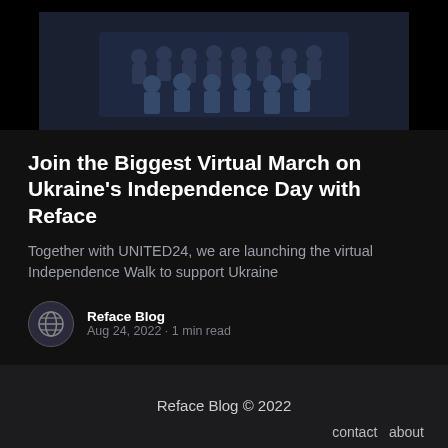[Figure (photo): Group photo of many people arranged in rows, dark tones, appears to be a virtual march image]
Join the Biggest Virtual March on Ukraine's Independence Day with Reface
Together with UNITED24, we are launching the virtual Independence Walk to support Ukraine
Reface Blog
Aug 24, 2022 · 1 min read
Reface Blog © 2022
contact  about
subscribe